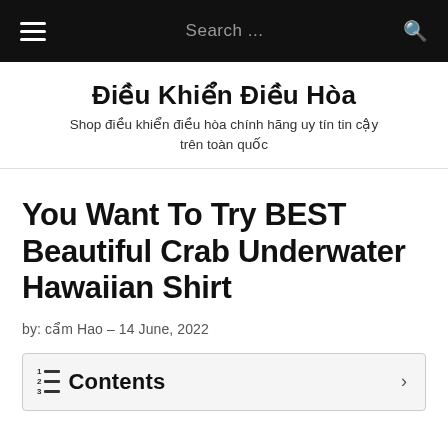≡  Search ...  🔍
Điều Khiển Điều Hòa
Shop điều khiển điều hòa chính hãng uy tín tin cậy trên toàn quốc
You Want To Try BEST Beautiful Crab Underwater Hawaiian Shirt
by: cẩm Hao – 14 June, 2022
Contents